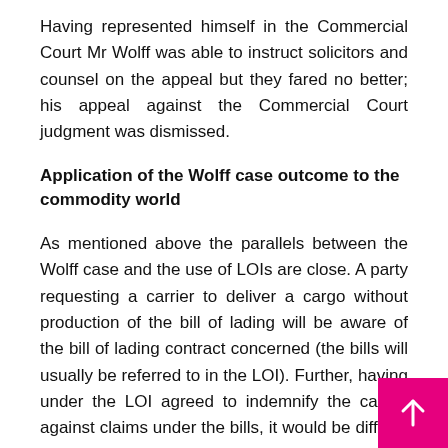Having represented himself in the Commercial Court Mr Wolff was able to instruct solicitors and counsel on the appeal but they fared no better; his appeal against the Commercial Court judgment was dismissed.
Application of the Wolff case outcome to the commodity world
As mentioned above the parallels between the Wolff case and the use of LOIs are close. A party requesting a carrier to deliver a cargo without production of the bill of lading will be aware of the bill of lading contract concerned (the bills will usually be referred to in the LOI). Further, having under the LOI agreed to indemnify the carrier against claims under the bills, it would be difficult for the requesting party and LOI issuer to say they did not have the necessary knowledge that the action they had induced the carrier to take would amount to a breach of the bill of lading contract.